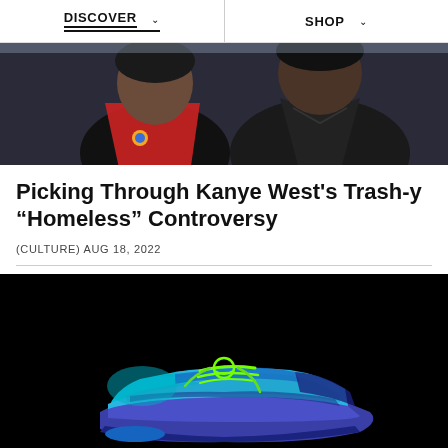DISCOVER   SHOP
[Figure (photo): Two people standing together, one wearing a red apron over a black outfit with a small pin, the other in a dark leather jacket]
Picking Through Kanye West's Trash-y "Homeless" Controversy
(CULTURE) AUG 18, 2022
[Figure (photo): Adidas Yeezy 500 sneaker in blue and teal colorway with neon green laces, photographed against a black background]